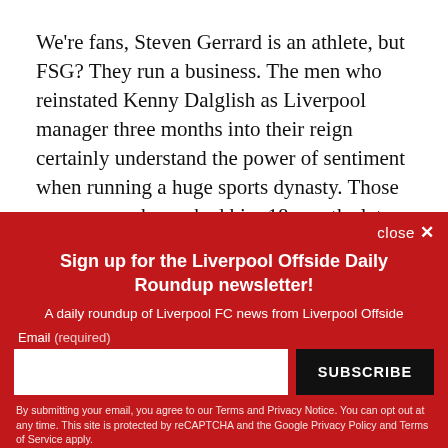We're fans, Steven Gerrard is an athlete, but FSG? They run a business. The men who reinstated Kenny Dalglish as Liverpool manager three months into their reign certainly understand the power of sentiment when running a huge sports dynasty. Those same men who sacked him 18 months later also recognize the
[Figure (other): Newsletter signup overlay with red background. Title: 'Sign up for the Liverpool Offside Daily Roundup newsletter!'. Subtitle: 'A daily roundup of Liverpool FC news from Liverpool Offside'. Email input field and SUBSCRIBE button. Disclaimer text about Terms and Privacy Notice.]